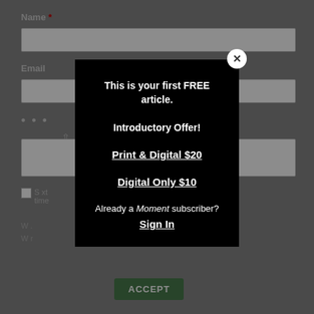[Figure (screenshot): Background of a web form with fields for Name, Email, password dots, checkboxes, text lines, and an ACCEPT button, overlaid by a dark semi-transparent layer]
This is your first FREE article.
Introductory Offer!
Print & Digital $20
Digital Only $10
Already a Moment subscriber?
Sign In